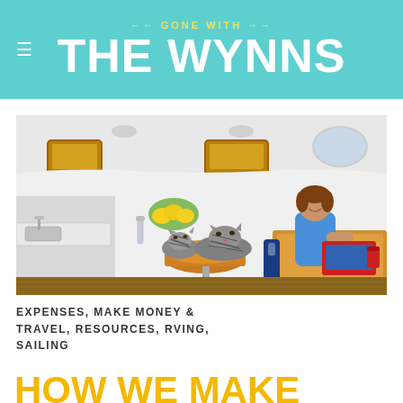Gone With The Wynns
[Figure (photo): Interior of a sailboat with two tabby cats resting on a round wooden seat/table, and a smiling man with a red laptop sitting at a table in the background. The boat interior has white walls, wood accents, yellow items, and blue cushioned seating.]
EXPENSES, MAKE MONEY & TRAVEL, RESOURCES, RVING, SAILING
HOW WE MAKE MONEY AND